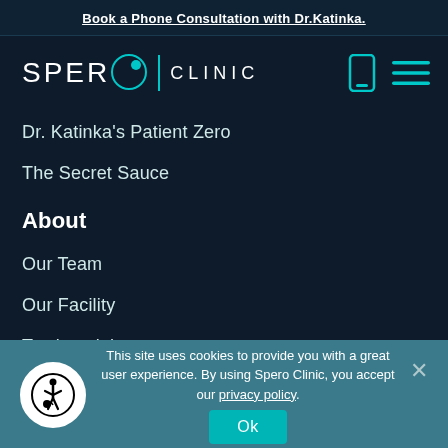Book a Phone Consultation with Dr.Katinka.
[Figure (logo): Spero Clinic logo with stylized O and teal divider, clinic text, and navigation icons]
Dr. Katinka's Patient Zero
The Secret Sauce
About
Our Team
Our Facility
Testimonials
This site uses cookies to provide you with a great user experience. By using Spero Clinic, you accept our privacy policy.